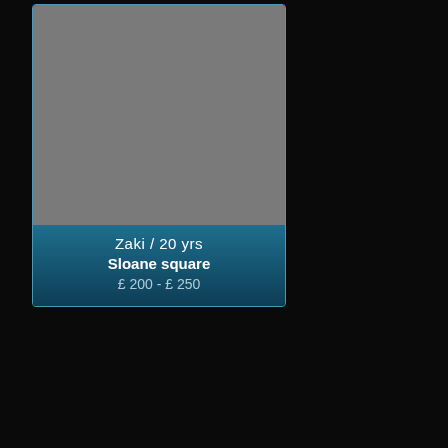[Figure (photo): Profile card showing a gray image placeholder with a blue gradient info box below it, displaying name 'Zaki / 20 yrs', location 'Sloane square', and price '£ 200 - £ 250']
Asian Escorts Sloane Square Services
Sloane Square is a small hard-landscaped street on the borders of the West London districts of Knightsbridge, Belgravia and Chelsea. The area develops a boundary between the two largest refined estates in London: the Grosvenor Estate and the Cadogan. Also this comes with two remarkable buildings: the Royal Court Theatre and Peter Jones department store. The street is truly a Home to a number of elite Asian escorts Sloane Square who combine in flawlessly with the swanky nature of the area